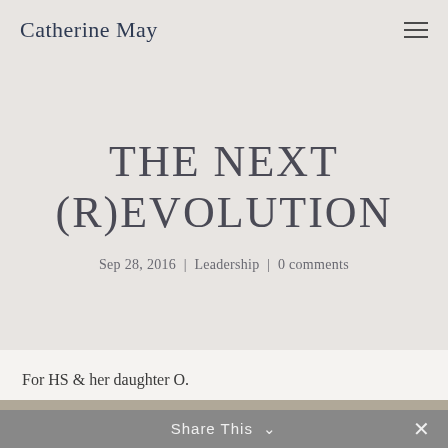Catherine May
THE NEXT (R)EVOLUTION
Sep 28, 2016 | Leadership | 0 comments
For HS & her daughter O.
Share This